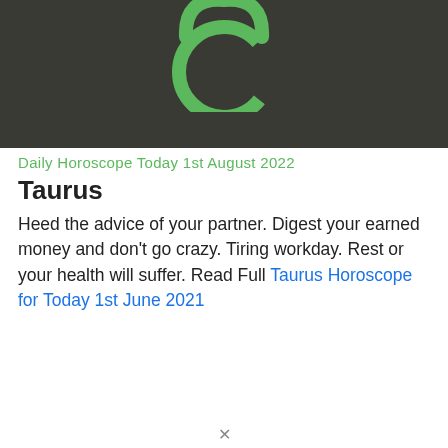[Figure (illustration): Dark olive/charcoal background banner showing the Taurus zodiac symbol (a circle with two curved horns) in bright green, partially cropped at top]
Daily Horoscope Today 1st August 2022
Taurus
Heed the advice of your partner. Digest your earned money and don't go crazy. Tiring workday. Rest or your health will suffer. Read Full Taurus Horoscope for Today 1st June 2021